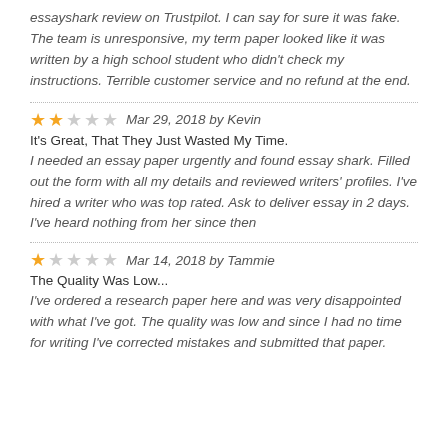essayshark review on Trustpilot. I can say for sure it was fake. The team is unresponsive, my term paper looked like it was written by a high school student who didn't check my instructions. Terrible customer service and no refund at the end.
Mar 29, 2018 by Kevin
It's Great, That They Just Wasted My Time.
I needed an essay paper urgently and found essay shark. Filled out the form with all my details and reviewed writers' profiles. I've hired a writer who was top rated. Ask to deliver essay in 2 days. I've heard nothing from her since then
Mar 14, 2018 by Tammie
The Quality Was Low...
I've ordered a research paper here and was very disappointed with what I've got. The quality was low and since I had no time for writing I've corrected mistakes and submitted that paper.